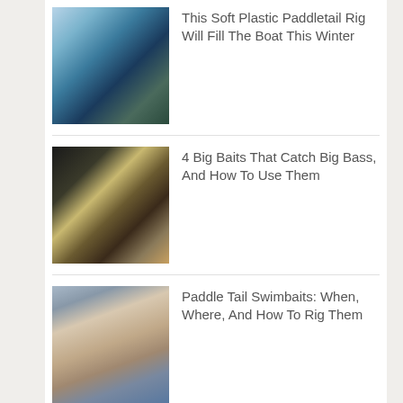[Figure (photo): Close-up of colorful soft plastic fishing lures (blue, black, glitter) laid together]
This Soft Plastic Paddletail Rig Will Fill The Boat This Winter
[Figure (photo): Dark fishing lures including large swimbaits in brown, green, and gold colors, with a hook visible]
4 Big Baits That Catch Big Bass, And How To Use Them
[Figure (photo): A hand holding a blue paddle tail swimbait fishing lure]
Paddle Tail Swimbaits: When, Where, And How To Rig Them